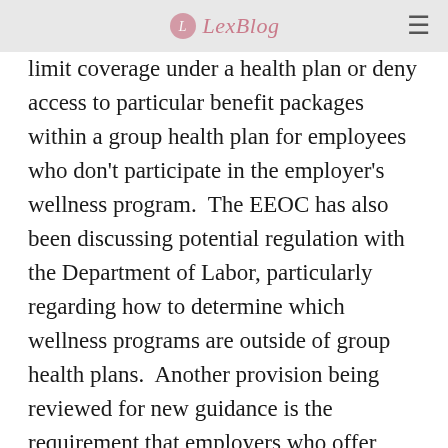LexBlog
limit coverage under a health plan or deny access to particular benefit packages within a group health plan for employees who don't participate in the employer's wellness program. The EEOC has also been discussing potential regulation with the Department of Labor, particularly regarding how to determine which wellness programs are outside of group health plans. Another provision being reviewed for new guidance is the requirement that employers who offer wellness programs give employees a notice that clearly explains what medical information will be obtained, who will receive the medical information, how